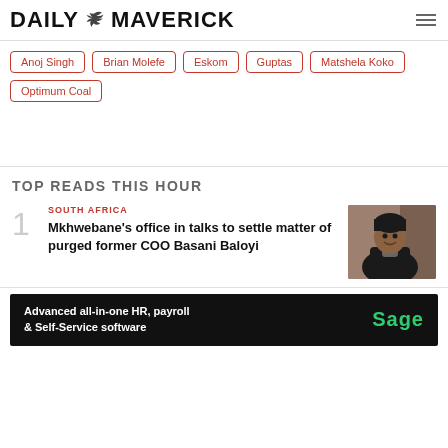DAILY MAVERICK
Anoj Singh
Brian Molefe
Eskom
Guptas
Matshela Koko
Optimum Coal
TOP READS THIS HOUR
SOUTH AFRICA
Mkhwebane's office in talks to settle matter of purged former COO Basani Baloyi
[Figure (photo): Portrait photo of a woman in a black jacket, smiling, photographed outdoors]
[Figure (infographic): Advertisement banner: Advanced all-in-one HR, payroll & Self-Service software — Sage logo]